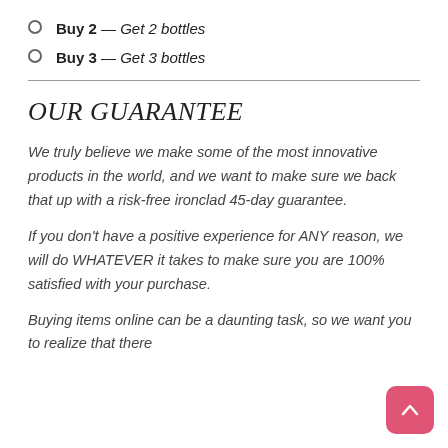Buy 2 — Get 2 bottles
Buy 3 — Get 3 bottles
OUR GUARANTEE
We truly believe we make some of the most innovative products in the world, and we want to make sure we back that up with a risk-free ironclad 45-day guarantee.
If you don't have a positive experience for ANY reason, we will do WHATEVER it takes to make sure you are 100% satisfied with your purchase.
Buying items online can be a daunting task, so we want you to realize that there